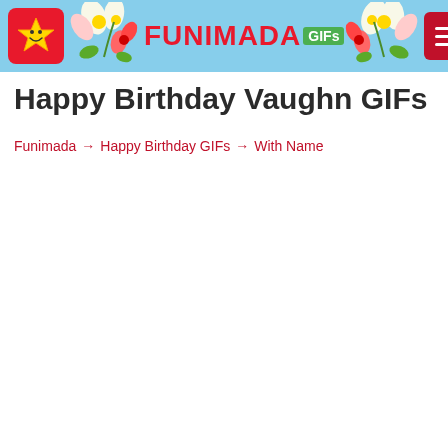FUNIMADA GIFs
Happy Birthday Vaughn GIFs
Funimada → Happy Birthday GIFs → With Name